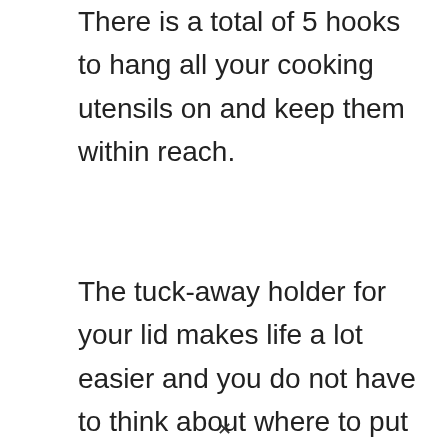There is a total of 5 hooks to hang all your cooking utensils on and keep them within reach.
The tuck-away holder for your lid makes life a lot easier and you do not have to think about where to put your lid while making adjustments to your food.